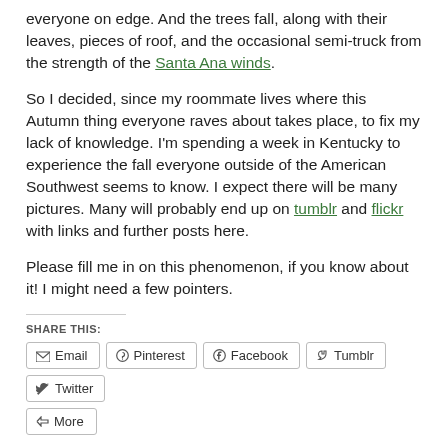everyone on edge. And the trees fall, along with their leaves, pieces of roof, and the occasional semi-truck from the strength of the Santa Ana winds.
So I decided, since my roommate lives where this Autumn thing everyone raves about takes place, to fix my lack of knowledge. I'm spending a week in Kentucky to experience the fall everyone outside of the American Southwest seems to know. I expect there will be many pictures. Many will probably end up on tumblr and flickr with links and further posts here.
Please fill me in on this phenomenon, if you know about it! I might need a few pointers.
SHARE THIS:
Email | Pinterest | Facebook | Tumblr | Twitter | More